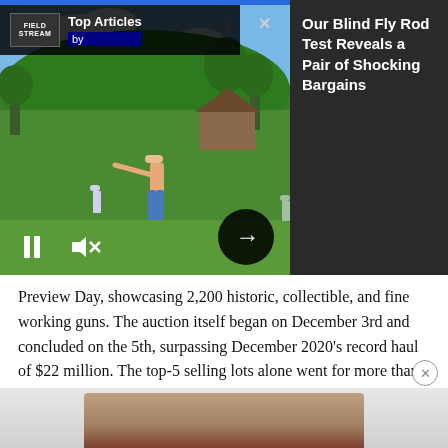[Figure (photo): Video player overlay showing a person throwing or swinging at an outdoor event in a green field with hills and trees. UI controls visible: pause button, mute button, and forward arrow. 'Top Articles' panel with logo and navigation dots and X button overlaid at top. Right side shows dark panel with article title text.]
Our Blind Fly Rod Test Reveals a Pair of Shocking Bargains
Preview Day, showcasing 2,200 historic, collectible, and fine working guns. The auction itself began on December 3rd and concluded on the 5th, surpassing December 2020's record haul of $22 million. The top-5 selling lots alone went for more than 5 million. Here they are, including ties.
1. Napoleon's Garniture
[Figure (photo): Partial image of antique guns visible at bottom of page.]